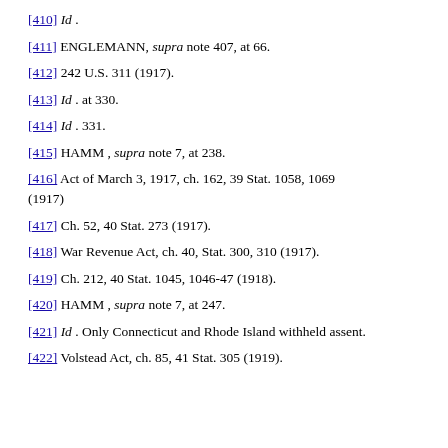[410] Id .
[411] ENGLEMANN, supra note 407, at 66.
[412] 242 U.S. 311 (1917).
[413] Id . at 330.
[414] Id . 331.
[415] HAMM , supra note 7, at 238.
[416] Act of March 3, 1917, ch. 162, 39 Stat. 1058, 1069 (1917)
[417] Ch. 52, 40 Stat. 273 (1917).
[418] War Revenue Act, ch. 40, Stat. 300, 310 (1917).
[419] Ch. 212, 40 Stat. 1045, 1046-47 (1918).
[420] HAMM , supra note 7, at 247.
[421] Id . Only Connecticut and Rhode Island withheld assent.
[422] Volstead Act, ch. 85, 41 Stat. 305 (1919).